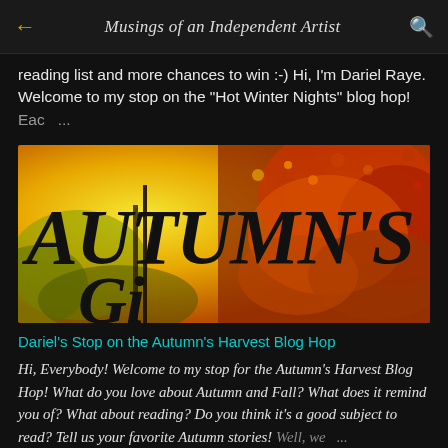Musings of an Independent Artist
reading list and more chances to win :-) Hi, I'm Dariel Raye. Welcome to my stop on the "Hot Winter Nights" blog hop! Eac ...
[Figure (illustration): Book cover or blog banner showing autumn trees with golden and orange foliage, with large bold italic text reading 'AUTUMN'S' and partial text below it]
Dariel's Stop on the Autumn's Harvest Blog Hop
Hi, Everybody! Welcome to my stop for the Autumn's Harvest Blog Hop! What do you love about Autumn and Fall? What does it remind you of? What about reading? Do you think it's a good subject to read? Tell us your favorite Autumn stories! Well, we ...